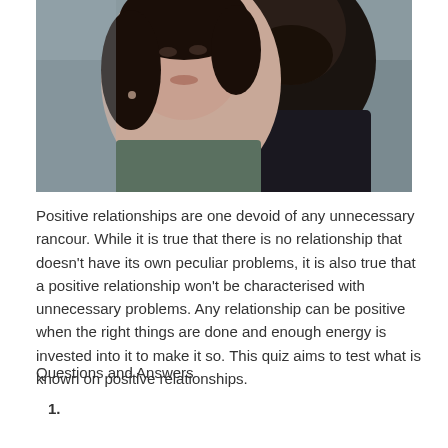[Figure (photo): A couple — a woman with dark hair in the foreground looking slightly upward and a bearded man behind her, both photographed in a candid close-up style.]
Positive relationships are one devoid of any unnecessary rancour. While it is true that there is no relationship that doesn't have its own peculiar problems, it is also true that a positive relationship won't be characterised with unnecessary problems. Any relationship can be positive when the right things are done and enough energy is invested into it to make it so. This quiz aims to test what is known on positive relationships.
Questions and Answers
1.